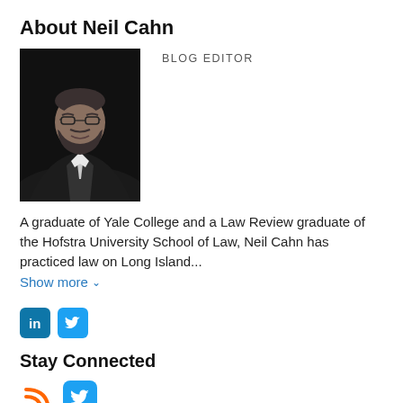About Neil Cahn
BLOG EDITOR
[Figure (photo): Professional headshot of Neil Cahn, a man with glasses and a beard wearing a dark suit and white shirt with tie, against a dark background.]
A graduate of Yale College and a Law Review graduate of the Hofstra University School of Law, Neil Cahn has practiced law on Long Island...
Show more ∨
[Figure (logo): LinkedIn icon (white 'in' on blue rounded square) and Twitter icon (white bird on blue rounded square)]
Stay Connected
[Figure (logo): RSS feed icon (orange) and Twitter icon (white bird on blue rounded square)]
Subscribe to this blog